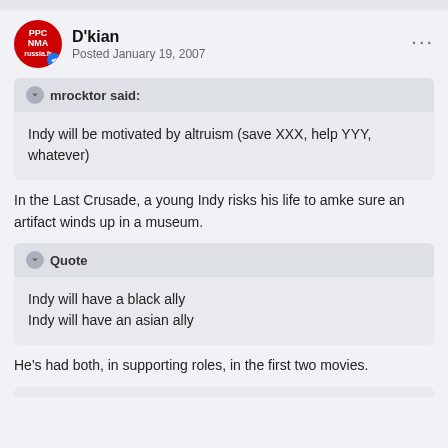D'kian — Posted January 19, 2007
mrocktor said:
Indy will be motivated by altruism (save XXX, help YYY, whatever)
In the Last Crusade, a young Indy risks his life to amke sure an artifact winds up in a museum.
Quote
Indy will have a black ally
Indy will have an asian ally
He's had both, in supporting roles, in the first two movies.